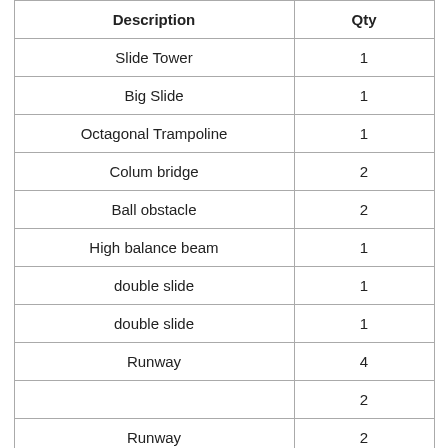| Description | Qty |
| --- | --- |
| Slide Tower | 1 |
| Big Slide | 1 |
| Octagonal Trampoline | 1 |
| Colum bridge | 2 |
| Ball obstacle | 2 |
| High balance beam | 1 |
| double slide | 1 |
| double slide | 1 |
| Runway | 4 |
|  | 2 |
| Runway | 2 |